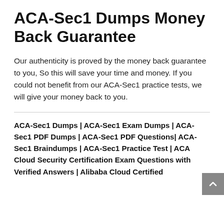ACA-Sec1 Dumps Money Back Guarantee
Our authenticity is proved by the money back guarantee to you, So this will save your time and money. If you could not benefit from our ACA-Sec1 practice tests, we will give your money back to you.
ACA-Sec1 Dumps | ACA-Sec1 Exam Dumps | ACA-Sec1 PDF Dumps | ACA-Sec1 PDF Questions| ACA-Sec1 Braindumps | ACA-Sec1 Practice Test | ACA Cloud Security Certification Exam Questions with Verified Answers | Alibaba Cloud Certified